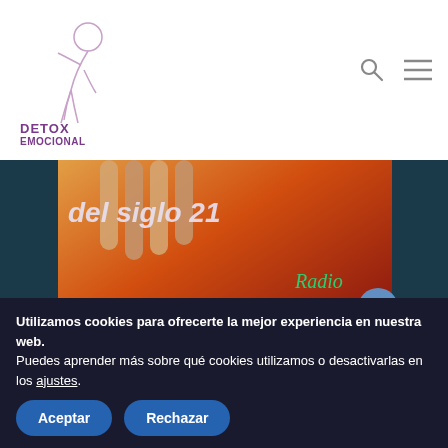[Figure (logo): Detox Emocional logo with stylized woman figure and text DETOX EMOCIONAL in purple]
[Figure (photo): Partial web page screenshot showing banner with papaya/seeds photo, text 'del siglo 21' in italic, Radio Tantra label in green and gold, and play button]
Haz una donación significativa y ayudanos a crear material educativo digital de calidad.
Utilizamos cookies para ofrecerte la mejor experiencia en nuestra web.
Puedes aprender más sobre qué cookies utilizamos o desactivarlas en los ajustes.